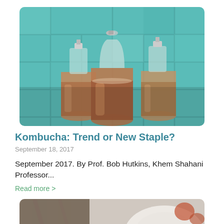[Figure (photo): Three glass swing-top bottles filled with amber kombucha, against a teal tile background]
Kombucha: Trend or New Staple?
September 18, 2017
September 2017. By Prof. Bob Hutkins, Khem Shahani Professor...
Read more >
[Figure (photo): Partial view of a plate with food items, partially cropped at bottom of page]